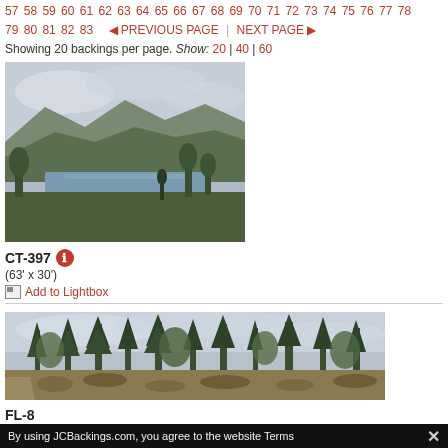57 58 59 60 61 62 63 64 65 66 67 68 69 70 71 72 73 74 75 76 77 78 79 80 81 82 83  PREVIOUS PAGE | NEXT PAGE
Showing 20 backings per page. Show: 20 | 40 | 60
[Figure (photo): Landscape photograph showing a lake or river with mountains and trees, overcast sky. CT-397 backing image.]
CT-397 (63' x 30')
Add to Lightbox
[Figure (photo): Wide panoramic photograph of a forest scene with tall conifers and scrubby heathland vegetation under a cloudy sky. FL-8 backing image.]
FL-8 (115' x 23')
Add to Lightbox
By using JCBackings.com, you agree to the website Terms